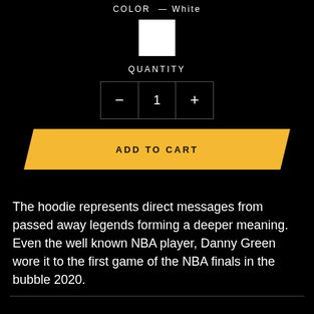COLOR — White
[Figure (other): White color swatch square with white border on black background]
QUANTITY
[Figure (other): Quantity selector control with minus button, number 1, and plus button]
[Figure (other): Gold/yellow 'ADD TO CART' button with parallelogram/slanted shape]
The hoodie represents direct messages from passed away legends forming a deeper meaning. Even the well known NBA player, Danny Green wore it to the first game of the NBA finals in the bubble 2020.